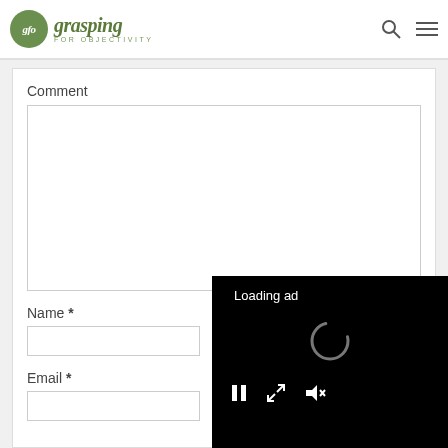gfo grasping FOR OBJECTIVITY
Comment
Name *
Email *
[Figure (screenshot): Video ad overlay showing 'Loading ad' text with a spinner and playback controls (pause, expand, mute) on a black background]